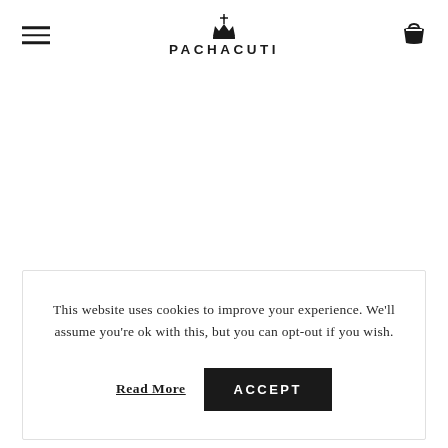PACHACUTI
This website uses cookies to improve your experience. We'll assume you're ok with this, but you can opt-out if you wish.
Read More  ACCEPT